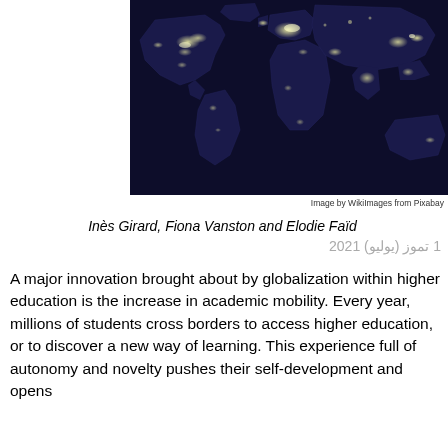[Figure (photo): Satellite night view of Earth showing city lights across continents — a dark blue/navy world map with bright spots indicating populated areas.]
Image by WikiImages from Pixabay
Inès Girard, Fiona Vanston and Elodie Faïd
1 تموز (يوليو) 2021
A major innovation brought about by globalization within higher education is the increase in academic mobility. Every year, millions of students cross borders to access higher education, or to discover a new way of learning. This experience full of autonomy and novelty pushes their self-development and opens